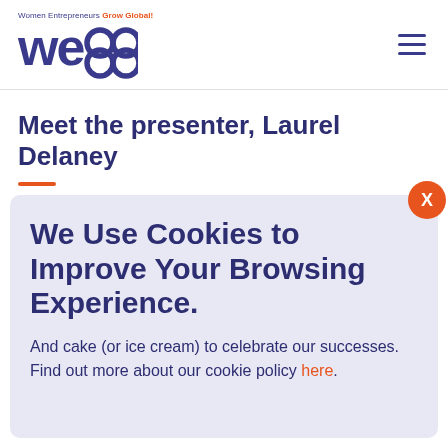Women Entrepreneurs Grow Global — wegg logo and hamburger menu
Meet the presenter, Laurel Delaney
[Figure (screenshot): Cookie consent popup overlay with title 'We Use Cookies to Improve Your Browsing Experience.' and body text 'And cake (or ice cream) to celebrate our successes. Find out more about our cookie policy here.' with orange X close button.]